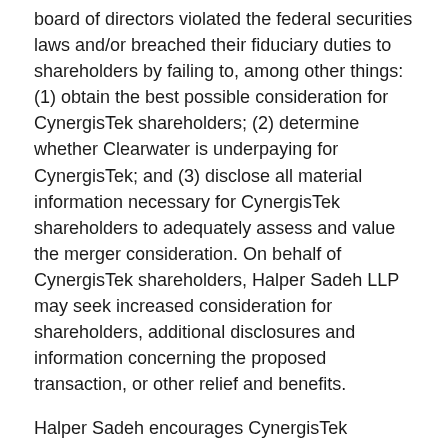board of directors violated the federal securities laws and/or breached their fiduciary duties to shareholders by failing to, among other things: (1) obtain the best possible consideration for CynergisTek shareholders; (2) determine whether Clearwater is underpaying for CynergisTek; and (3) disclose all material information necessary for CynergisTek shareholders to adequately assess and value the merger consideration. On behalf of CynergisTek shareholders, Halper Sadeh LLP may seek increased consideration for shareholders, additional disclosures and information concerning the proposed transaction, or other relief and benefits.
Halper Sadeh encourages CynergisTek shareholders to click here to learn more about their legal rights and options or contact Daniel Sadeh or Zachary Halper at (212) 763-0060 or sadeh@halpersadeh.com or zhalper@halpersadeh.com.
Halper Sadeh LLP represents investors all over the world who...